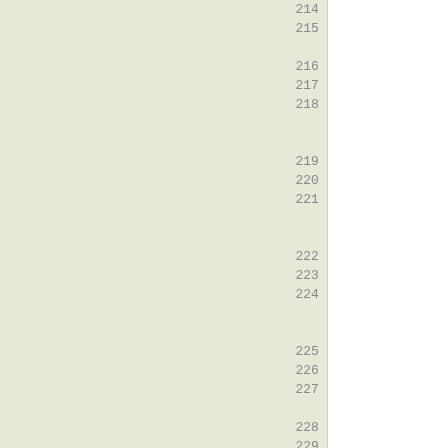Source code listing lines 214-229: compile-time checks for deprecated options in lwip headers. Includes #ifdef checks for MEMP_NUM_TCPIP_MSG, MEMP_NUM_API_MSG, TCP_REXMIT_DEBUG, RAW_STATS, ETHARP_QUEUE_FIRST with #error directives.